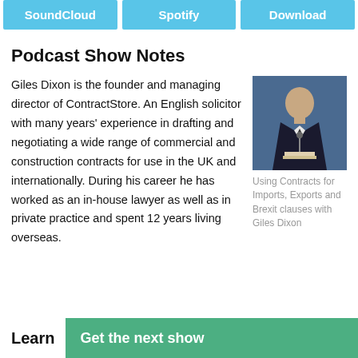[Figure (screenshot): Three teal/blue buttons labeled SoundCloud, Spotify, Download]
Podcast Show Notes
Giles Dixon is the founder and managing director of ContractStore. An English solicitor with many years' experience in drafting and negotiating a wide range of commercial and construction contracts for use in the UK and internationally. During his career he has worked as an in-house lawyer as well as in private practice and spent 12 years living overseas.
[Figure (photo): Photo of Giles Dixon, a man in a dark suit speaking at a podium against a blue background]
Using Contracts for Imports, Exports and Brexit clauses with Giles Dixon
Learn
Get the next show